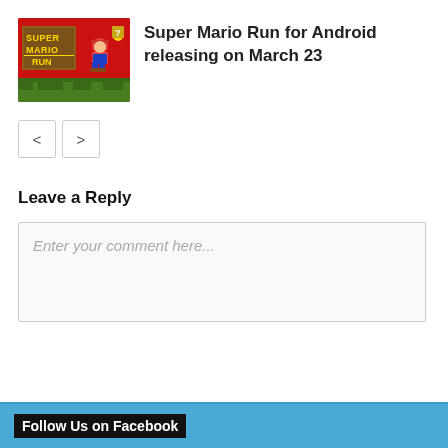[Figure (screenshot): Super Mario Run game thumbnail — red background with Mario character running, SUPER MARIO RUN logo text in yellow on brown boxes]
Super Mario Run for Android releasing on March 23
< >
Leave a Reply
Enter your comment here...
Follow Us on Facebook